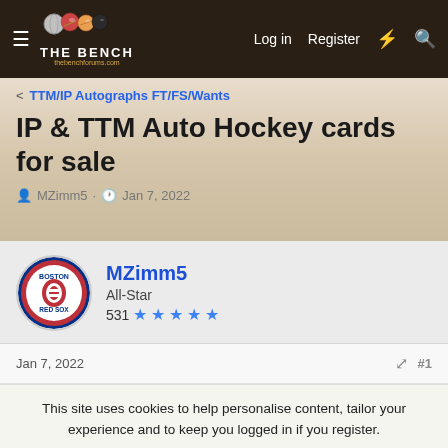THE BENCH — Log in | Register
< TTM/IP Autographs FT/FS/Wants
IP & TTM Auto Hockey cards for sale
MZimm5 · Jan 7, 2022
MZimm5
All-Star
531 ★★★★★
Jan 7, 2022  #1
This site uses cookies to help personalise content, tailor your experience and to keep you logged in if you register.
By continuing to use this site, you are consenting to our use of cookies.
✓ Accept  Learn more...